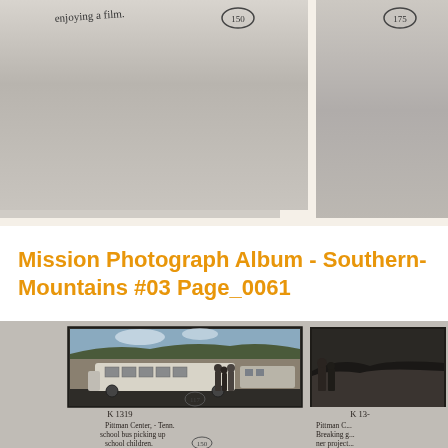[Figure (photo): Top portion of a photographic album page showing two cropped black-and-white photographs with handwritten annotations. Left photo has handwriting 'enjoying a film. (150)' and right photo shows partial view with circled '175' notation.]
Mission Photograph Album - Southern-Mountains #03 Page_0061
[Figure (photo): Bottom portion of a photographic album page showing two black-and-white photographs. Left photo labeled 'K 1319' shows a school bus picking up school children at Pittman Center, Tennessee with handwritten caption 'Pittman Center, - Tenn. school bus picking up school children. (150)'. Right photo labeled 'K 13-' shows a partial view at Pittman Center with caption 'Pittman C... Breaking g... ner project...']